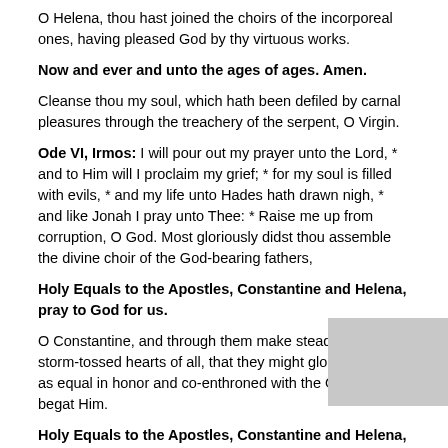O Helena, thou hast joined the choirs of the incorporeal ones, having pleased God by thy virtuous works.
Now and ever and unto the ages of ages. Amen.
Cleanse thou my soul, which hath been defiled by carnal pleasures through the treachery of the serpent, O Virgin.
Ode VI, Irmos: I will pour out my prayer unto the Lord, * and to Him will I proclaim my grief; * for my soul is filled with evils, * and my life unto Hades hath drawn nigh, * and like Jonah I pray unto Thee: * Raise me up from corruption, O God. Most gloriously didst thou assemble the divine choir of the God-bearing fathers,
Holy Equals to the Apostles, Constantine and Helena, pray to God for us.
O Constantine, and through them make steadfast the storm-tossed hearts of all, that they might glorify the Word as equal in honor and co-enthroned with the One Who begat Him.
Holy Equals to the Apostles, Constantine and Helena, pray to God for us.
Having believed on the living Lord Who giveth life unto all, O